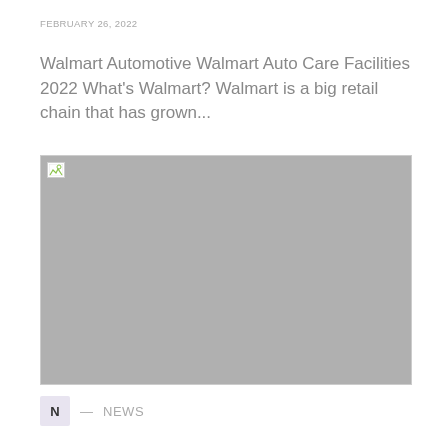FEBRUARY 26, 2022
Walmart Automotive Walmart Auto Care Facilities 2022 What's Walmart? Walmart is a big retail chain that has grown...
[Figure (photo): A placeholder/broken image shown as a large grey rectangle with a broken image icon in the top-left corner.]
N — NEWS